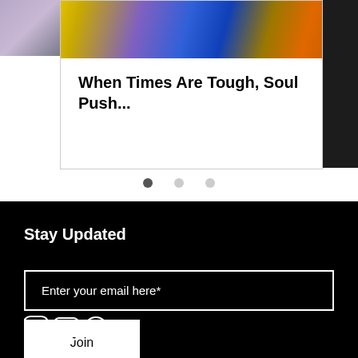[Figure (screenshot): Carousel card showing article titled 'When Times Are Tough, Soul Push...' with a colorful photo of a person lit in blue and orange/yellow tones. Side strips visible on left and right.]
[Figure (infographic): Carousel navigation dots: three dots, first filled dark, second and third lighter/empty]
Stay Updated
Enter your email here*
Join
[Figure (infographic): Social media icons: Instagram, YouTube, Spotify]